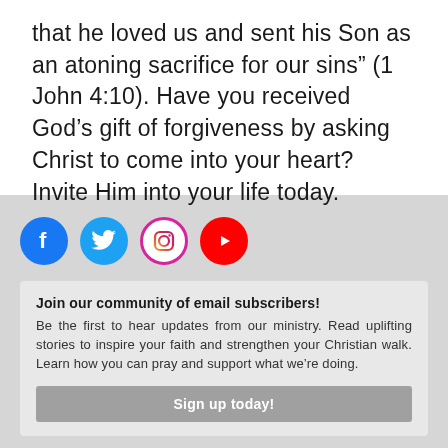that he loved us and sent his Son as an atoning sacrifice for our sins” (1 John 4:10). Have you received God’s gift of forgiveness by asking Christ to come into your heart? Invite Him into your life today.
[Figure (infographic): Four social media icon circles: Facebook (blue), Twitter (light blue), Instagram (white with pink/red border), YouTube (red)]
Join our community of email subscribers! Be the first to hear updates from our ministry. Read uplifting stories to inspire your faith and strengthen your Christian walk. Learn how you can pray and support what we’re doing.
Sign up today!